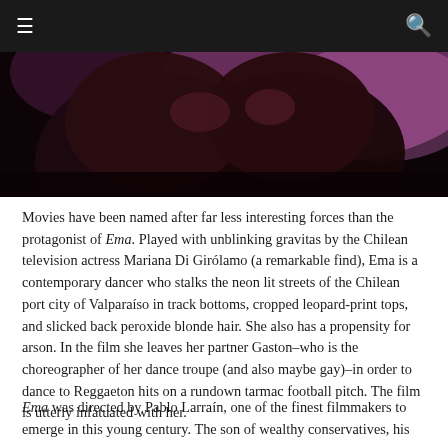☰  🔍
[Figure (photo): Dark cinematic still from the film Ema showing figures in dramatic low-light with pink/purple background lighting]
Movies have been named after far less interesting forces than the protagonist of Ema. Played with unblinking gravitas by the Chilean television actress Mariana Di Girólamo (a remarkable find), Ema is a contemporary dancer who stalks the neon lit streets of the Chilean port city of Valparaíso in track bottoms, cropped leopard-print tops, and slicked back peroxide blonde hair. She also has a propensity for arson. In the film she leaves her partner Gaston–who is the choreographer of her dance troupe (and also maybe gay)–in order to dance to Reggaeton hits on a rundown tarmac football pitch. The film is utterly infatuated with her.
Ema was directed by Pablo Larraín, one of the finest filmmakers to emerge in this young century. The son of wealthy conservatives, his